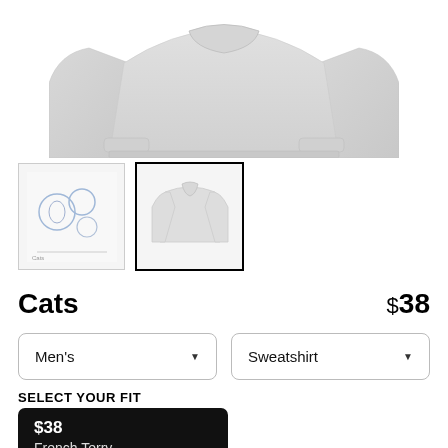[Figure (photo): Grey crewneck sweatshirt laid flat, showing the top portion with collar and sleeves folded inward]
[Figure (photo): Thumbnail 1: sketch/design illustration of cats on white background]
[Figure (photo): Thumbnail 2 (selected): grey sweatshirt product photo, selected with black border]
Cats
$38
Men's
Sweatshirt
SELECT YOUR FIT
$38
French Terry